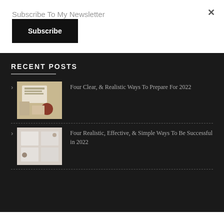Subscribe To My Newsletter
Subscribe
RECENT POSTS
Four Clear, & Realistic Ways To Prepare For 2022
Four Realistic, Effective, & Simple Ways To Be Successful in 2022